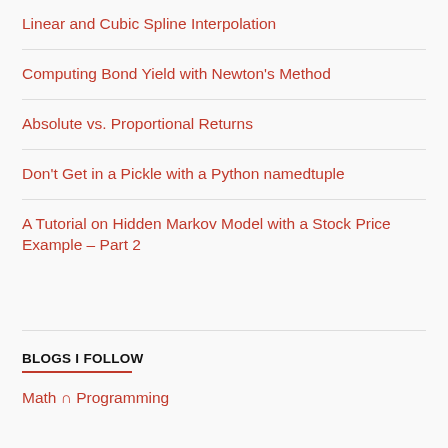Linear and Cubic Spline Interpolation
Computing Bond Yield with Newton's Method
Absolute vs. Proportional Returns
Don't Get in a Pickle with a Python namedtuple
A Tutorial on Hidden Markov Model with a Stock Price Example – Part 2
BLOGS I FOLLOW
Math ∩ Programming